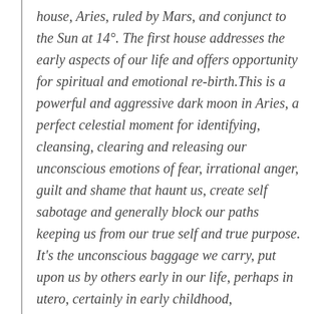house, Aries, ruled by Mars, and conjunct to the Sun at 14°. The first house addresses the early aspects of our life and offers opportunity for spiritual and emotional rebirth.This is a powerful and aggressive dark moon in Aries, a perfect celestial moment for identifying, cleansing, clearing and releasing our unconscious emotions of fear, irrational anger, guilt and shame that haunt us, create self sabotage and generally block our paths keeping us from our true self and true purpose. It's the unconscious baggage we carry, put upon us by others early in our life, perhaps in utero, certainly in early childhood,